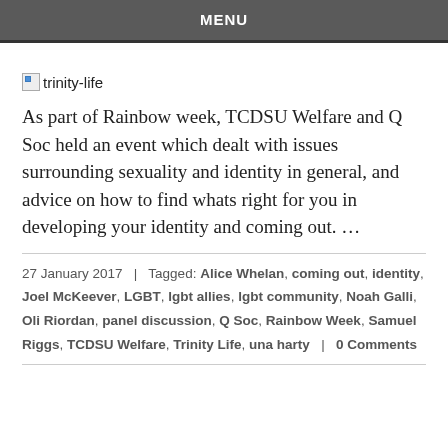MENU
[Figure (other): Broken image placeholder with label 'trinity-life']
As part of Rainbow week, TCDSU Welfare and Q Soc held an event which dealt with issues surrounding sexuality and identity in general, and advice on how to find whats right for you in developing your identity and coming out. …
27 January 2017  |  Tagged: Alice Whelan, coming out, identity, Joel McKeever, LGBT, lgbt allies, lgbt community, Noah Galli, Oli Riordan, panel discussion, Q Soc, Rainbow Week, Samuel Riggs, TCDSU Welfare, Trinity Life, una harty  |  0 Comments